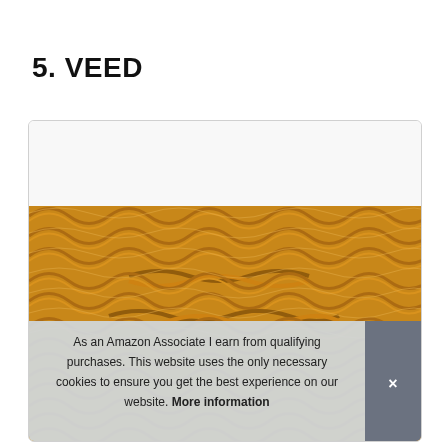5. VEED
[Figure (photo): Photo of a golden/mustard yellow knitted textile headband or fabric piece, showing a braided cable-knit pattern texture.]
As an Amazon Associate I earn from qualifying purchases. This website uses the only necessary cookies to ensure you get the best experience on our website. More information